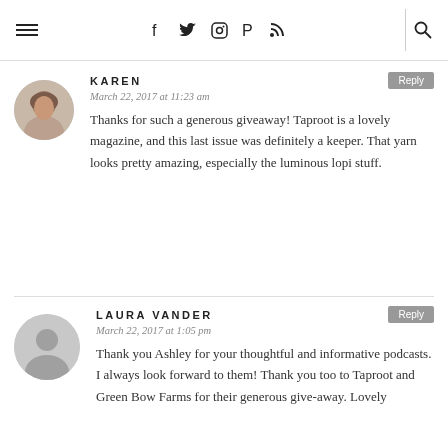Navigation bar with hamburger menu, social icons (facebook, twitter, instagram, pinterest, rss), and search icon
[Figure (photo): Circular avatar photo of Karen, a woman with short brown hair]
KAREN
March 22, 2017 at 11:23 am
Thanks for such a generous giveaway! Taproot is a lovely magazine, and this last issue was definitely a keeper. That yarn looks pretty amazing, especially the luminous lopi stuff.
[Figure (illustration): Circular grey default avatar silhouette for Laura Vander]
LAURA VANDER
March 22, 2017 at 1:05 pm
Thank you Ashley for your thoughtful and informative podcasts. I always look forward to them! Thank you too to Taproot and Green Bow Farms for their generous give-away. Lovely